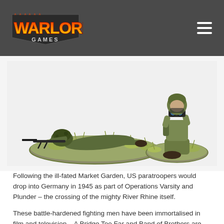Warlord Games
[Figure (photo): Two painted miniature figures: one prone soldier with a machine gun on a large oval base with grass tufts, and one kneeling soldier with binoculars on a smaller round base with grass tufts.]
Following the ill-fated Market Garden, US paratroopers would drop into Germany in 1945 as part of Operations Varsity and Plunder – the crossing of the mighty River Rhine itself.
These battle-hardened fighting men have been immortalised in film and television – A Bridge Too Far and Band of Brothers are both great sources of inspiration for these troops and the actions they fought in so heroically.